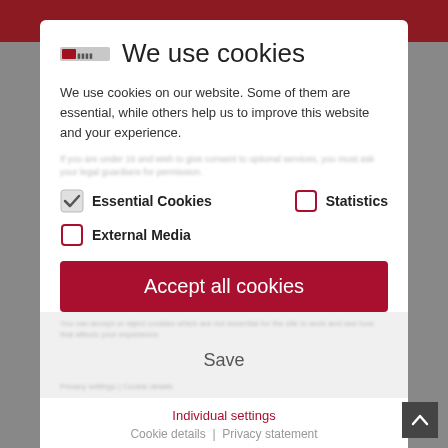[Figure (screenshot): Cookie consent modal dialog on a website. Dark background visible behind the modal. Modal contains logo, title 'We use cookies', descriptive text, checkboxes for Essential Cookies (checked), Statistics (unchecked), External Media (unchecked), an Accept all cookies button, a Save button, Individual settings link, and Cookie details | Privacy statement links.]
We use cookies
We use cookies on our website. Some of them are essential, while others help us to improve this website and your experience.
Essential Cookies (checked)
Statistics (unchecked)
External Media (unchecked)
Accept all cookies
Save
Individual settings
Cookie details | Privacy statement